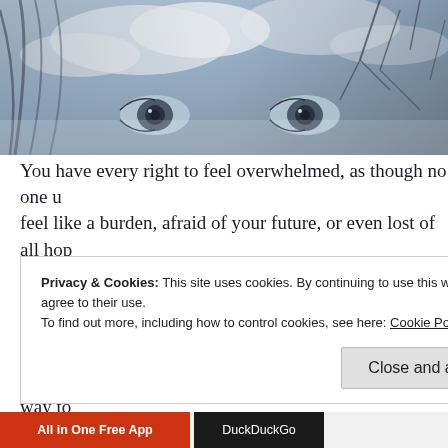[Figure (photo): Double exposure artistic photo of a woman's face with eyes visible, overlaid with bare winter trees and cloudy sky in blue-grey tones]
You have every right to feel overwhelmed, as though no one u feel like a burden, afraid of your future, or even lost of all hop everyone living with long-term illness understands these feeli It doesn't make it any less horrible to know that 100 million A pain can relate to that feeling, but it may help in some way to feelings are absolutely normal.
Privacy & Cookies: This site uses cookies. By continuing to use this website, you agree to their use.
To find out more, including how to control cookies, see here: Cookie Policy
Close and accept
All in One Free App    DuckDuckGo